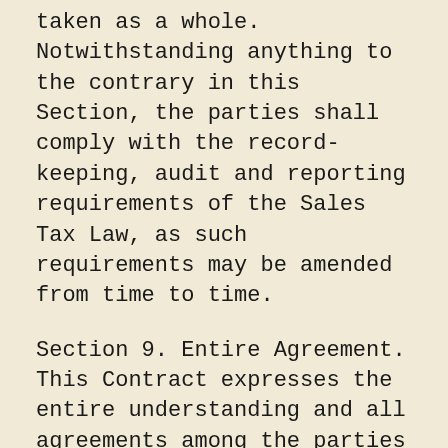taken as a whole. Notwithstanding anything to the contrary in this Section, the parties shall comply with the record-keeping, audit and reporting requirements of the Sales Tax Law, as such requirements may be amended from time to time.
Section 9. Entire Agreement. This Contract expresses the entire understanding and all agreements among the parties hereto with respect to the subject matter hereof.
Section 10. Severability. If any provision of this Contract shall be held or deemed to be or shall, in fact, be inoperative or unenforceable as applied in any particular case because it conflicts with any other provision or provisions hereof or any constitution or statute or rule of public policy, or for any other reason, such circumstances shall